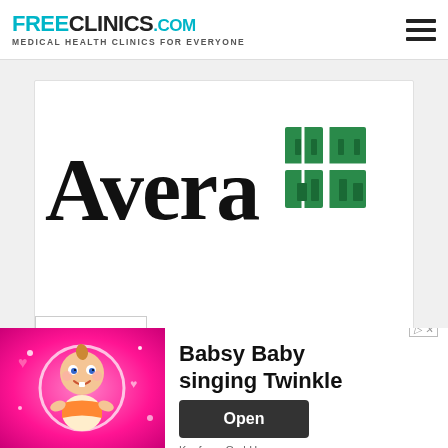FreeClinics.com — Medical Health Clinics For Everyone
[Figure (logo): Avera logo with green cross/snowflake symbol on white card background]
[Figure (screenshot): Advertisement banner: Babsy Baby singing Twinkle — Kaufcom GmbH, with animated baby cartoon image, Open button]